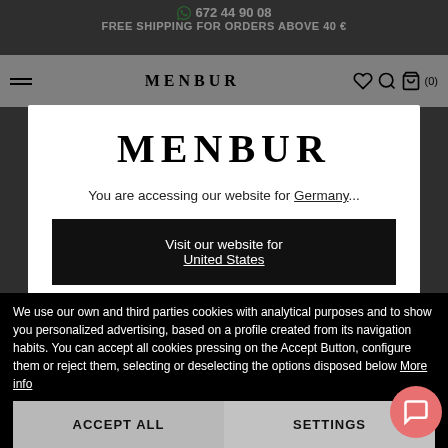672 44 90 08 | FREE SHIPPING FOR ORDERS ABOVE 40 €
[Figure (screenshot): Menbur website navigation bar with hamburger menu, MENBUR logo, and icons]
[Figure (screenshot): Modal popup: MENBUR logo with text 'You are accessing our website for Germany...' and two buttons: 'Visit our website for United States' and 'I stay in Germany']
We use our own and third parties cookies with analytical purposes and to show you personalized advertising, based on a profile created from its navigation habits. You can accept all cookies pressing on the Accept Button, configure them or reject them, selecting or deselecting the options disposed below More info
ACCEPT ALL | SETTINGS